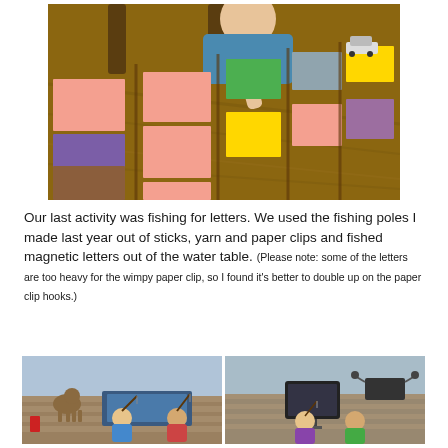[Figure (photo): A young child at a wooden table covered with colorful paper squares in various colors including pink/salmon, purple, brown, yellow, green, blue, and orange arranged in a grid pattern. A toy car is visible in the upper right.]
Our last activity was fishing for letters. We used the fishing poles I made last year out of sticks, yarn and paper clips and fished magnetic letters out of the water table. (Please note: some of the letters are too heavy for the wimpy paper clip, so I found it's better to double up on the paper clip hooks.)
[Figure (photo): Two side-by-side photos of children outdoors on a patio/deck fishing for magnetic letters in a water table using fishing poles made from sticks and yarn.]